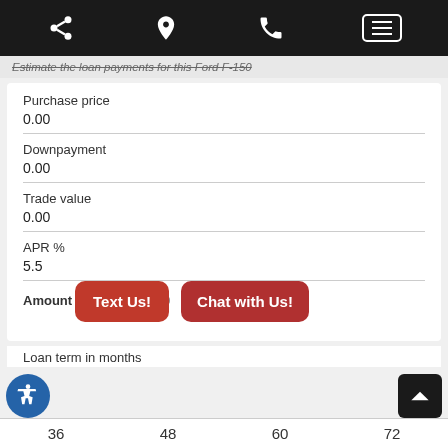Share | Location | Phone | Menu
Estimate the loan payments for this Ford F-150
Purchase price
0.00
Downpayment
0.00
Trade value
0.00
APR %
5.5
Amount financed - $0.00
Loan term in months
36   48   60   72